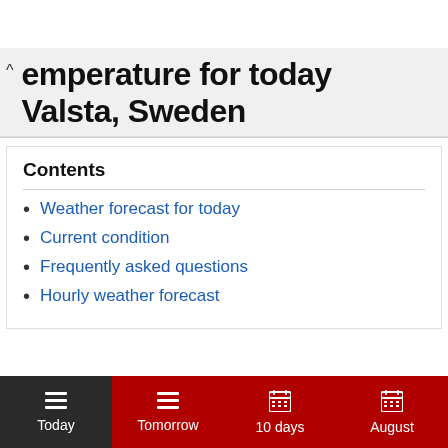emperature for today Valsta, Sweden
Contents
Weather forecast for today
Current condition
Frequently asked questions
Hourly weather forecast
Today  Tomorrow  10 days  August